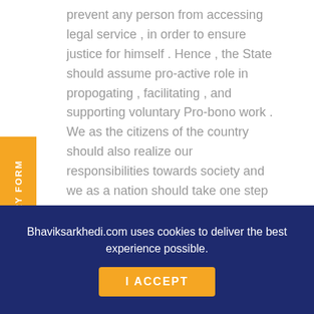prevent any person from accessing legal service , in order to ensure justice for himself . Hence , the State should assume pro-active role in propogating , facilitating , and supporting voluntary Pro-bono work . We as the citizens of the country should also realize our responsibilities towards society and we as a nation should take one step forward in the direction of ensuring justice for all.
INQUIRY FORM
Bhaviksarkhedi.com uses cookies to deliver the best experience possible.
I ACCEPT